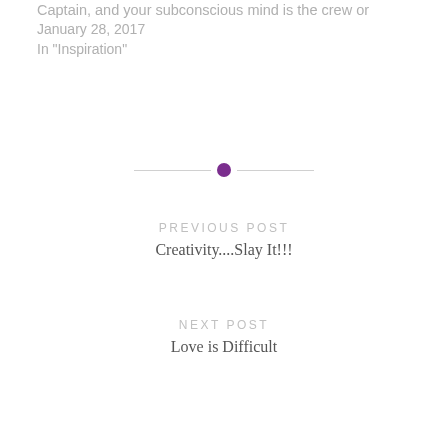Captain, and your subconscious mind is the crew or
January 28, 2017
In "Inspiration"
[Figure (illustration): A horizontal divider line with a purple filled circle in the center]
PREVIOUS POST
Creativity....Slay It!!!
NEXT POST
Love is Difficult